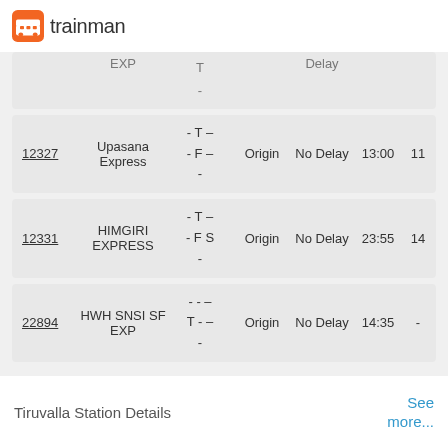trainman
| Train No | Name | Days | Starts | Delay | Time | PF |
| --- | --- | --- | --- | --- | --- | --- |
|  | EXP | T
- |  | Delay |  |  |
| 12327 | Upasana Express | - T –
- F –
- | Origin | No Delay | 13:00 | 11 |
| 12331 | HIMGIRI EXPRESS | - T –
- F S
- | Origin | No Delay | 23:55 | 14 |
| 22894 | HWH SNSI SF EXP | - - –
T - –
- | Origin | No Delay | 14:35 | - |
Tiruvalla Station Details
See more...